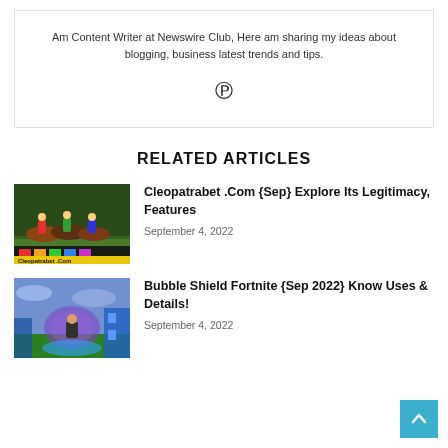Am Content Writer at Newswire Club, Here am sharing my ideas about blogging, business latest trends and tips.
[Figure (logo): Pinterest icon symbol]
RELATED ARTICLES
[Figure (photo): Horse racing screenshot with Cleopatrabet.Com text overlay]
Cleopatrabet .Com {Sep} Explore Its Legitimacy, Features
September 4, 2022
[Figure (photo): Fortnite game screenshot showing Bubble Shield gameplay]
Bubble Shield Fortnite {Sep 2022} Know Uses & Details!
September 4, 2022